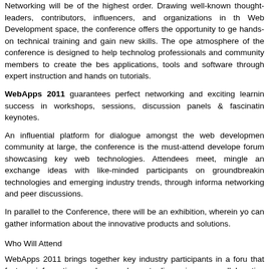Networking will be of the highest order. Drawing well-known thought-leaders, contributors, influencers, and organizations in the Web Development space, the conference offers the opportunity to get hands-on technical training and gain new skills. The open atmosphere of the conference is designed to help technology professionals and community members to create the best applications, tools and software through expert instruction and hands-on tutorials.
WebApps 2011 guarantees perfect networking and exciting learning success in workshops, sessions, discussion panels & fascinating keynotes.
An influential platform for dialogue amongst the web development community at large, the conference is the must-attend developer forum showcasing key web technologies. Attendees meet, mingle and exchange ideas with like-minded participants on groundbreaking technologies and emerging industry trends, through informal networking and peer discussions.
In parallel to the Conference, there will be an exhibition, wherein you can gather information about the innovative products and solutions.
Who Will Attend
WebApps 2011 brings together key industry participants in a forum that fosters information exchange, honest discussion and collaborative problem solving. The targeted conference attendees include: